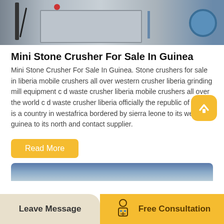[Figure (photo): Photo of a mini stone crusher machine — grey industrial equipment with cables, a blue fan visible on the right, and a red component on top, shown in a workshop/industrial setting.]
Mini Stone Crusher For Sale In Guinea
Mini Stone Crusher For Sale In Guinea. Stone crushers for sale in liberia mobile crushers all over western crusher liberia grinding mill equipment c d waste crusher liberia mobile crushers all over the world c d waste crusher liberia officially the republic of liberia is a country in westafrica bordered by sierra leone to its west guinea to its north and contact supplier.
[Figure (photo): Partial photo visible at the bottom — appears to be blue/grey stone or rock material background.]
Leave Message   Free Consultation